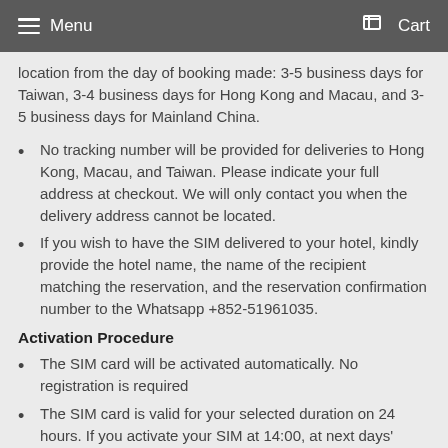Menu  Cart
location from the day of booking made: 3-5 business days for Taiwan, 3-4 business days for Hong Kong and Macau, and 3-5 business days for Mainland China.
No tracking number will be provided for deliveries to Hong Kong, Macau, and Taiwan. Please indicate your full address at checkout. We will only contact you when the delivery address cannot be located.
If you wish to have the SIM delivered to your hotel, kindly provide the hotel name, the name of the recipient matching the reservation, and the reservation confirmation number to the Whatsapp +852-51961035.
Activation Procedure
The SIM card will be activated automatically. No registration is required
The SIM card is valid for your selected duration on 24 hours. If you activate your SIM at 14:00, at next days' 13:59 it will count as one day.